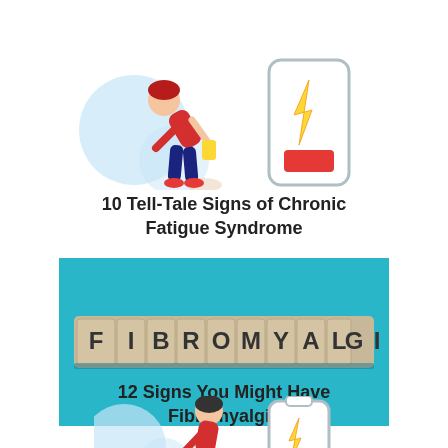[Figure (illustration): Cartoon illustration of a tired person hunched over next to a low battery icon on a phone, representing chronic fatigue. Partially visible at top of page.]
10 Tell-Tale Signs of Chronic Fatigue Syndrome
[Figure (photo): Photo of wooden letter tiles spelling FIBROMYALGIA on a bright blue background.]
12 Signs You Might Have Fibromyalgia
[Figure (illustration): Cartoon illustration of a person hunched over next to a battery/medical icon, partially visible at the bottom of the page.]